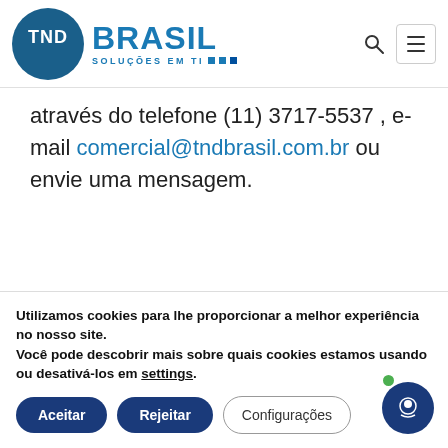[Figure (logo): TND Brasil logo — circular dark blue badge with 'TND' in white and 'BRASIL SOLUÇÕES EM TI' in blue text to the right]
através do telefone (11) 3717-5537 , e-mail comercial@tndbrasil.com.br ou envie uma mensagem.
Nome*
Utilizamos cookies para lhe proporcionar a melhor experiência no nosso site.
Você pode descobrir mais sobre quais cookies estamos usando ou desativá-los em settings.
Aceitar
Rejeitar
Configurações